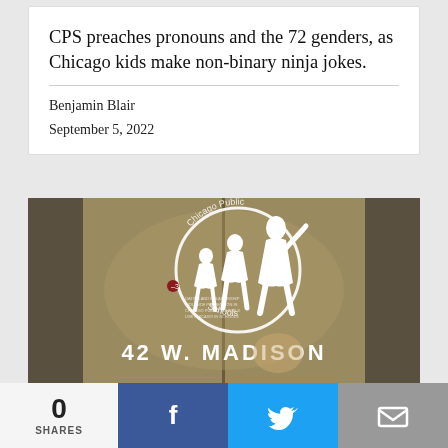CPS preaches pronouns and the 72 genders, as Chicago kids make non-binary ninja jokes.
Benjamin Blair
September 5, 2022
[Figure (photo): Photo of Chicago Public Schools logo — a white silhouette of a teacher and students in a circle — on glass doors at 42 W. Madison.]
0 SHARES